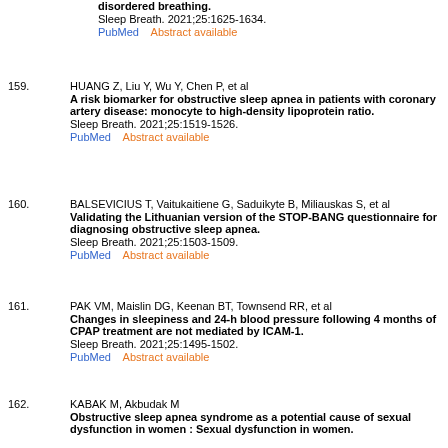disordered breathing. Sleep Breath. 2021;25:1625-1634. PubMed    Abstract available
159. HUANG Z, Liu Y, Wu Y, Chen P, et al. A risk biomarker for obstructive sleep apnea in patients with coronary artery disease: monocyte to high-density lipoprotein ratio. Sleep Breath. 2021;25:1519-1526. PubMed    Abstract available
160. BALSEVICIUS T, Vaitukaitiene G, Saduikyte B, Miliauskas S, et al. Validating the Lithuanian version of the STOP-BANG questionnaire for diagnosing obstructive sleep apnea. Sleep Breath. 2021;25:1503-1509. PubMed    Abstract available
161. PAK VM, Maislin DG, Keenan BT, Townsend RR, et al. Changes in sleepiness and 24-h blood pressure following 4 months of CPAP treatment are not mediated by ICAM-1. Sleep Breath. 2021;25:1495-1502. PubMed    Abstract available
162. KABAK M, Akbudak M. Obstructive sleep apnea syndrome as a potential cause of sexual dysfunction in women : Sexual dysfunction in women.